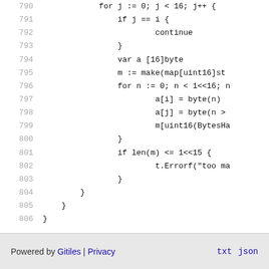[Figure (screenshot): Source code viewer showing lines 790-806 of Go code with line numbers on the left and code content on the right. Code includes nested loops, variable declarations, and conditionals.]
Powered by Gitiles | Privacy    txt  json